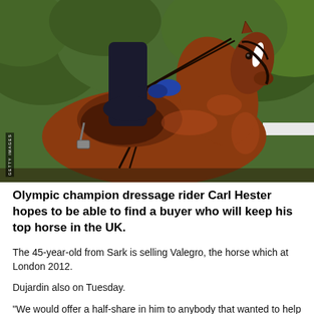[Figure (photo): A chestnut brown horse with a white blaze being ridden by a rider in dark clothing and blue gloves, with green foliage in the background. Getty Images watermark visible.]
Olympic champion dressage rider Carl Hester hopes to be able to find a buyer who will keep his top horse in the UK.
The 45-year-old from Sark is selling Valegro, the horse which at London 2012.
Dujardin also on Tuesday.
"We would offer a half-share in him to anybody that wanted to help keep him in the country, and we've given